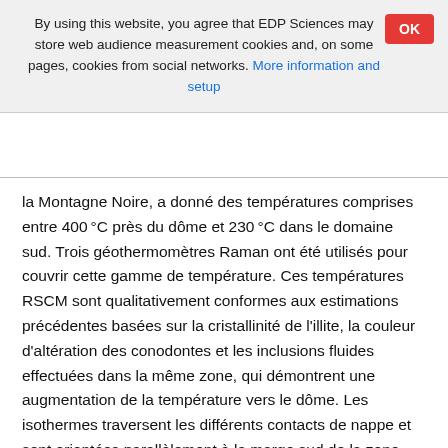By using this website, you agree that EDP Sciences may store web audience measurement cookies and, on some pages, cookies from social networks. More information and setup
la Montagne Noire, a donné des températures comprises entre 400 °C près du dôme et 230 °C dans le domaine sud. Trois géothermomètres Raman ont été utilisés pour couvrir cette gamme de température. Ces températures RSCM sont qualitativement conformes aux estimations précédentes basées sur la cristallinité de l'illite, la couleur d'altération des conodontes et les inclusions fluides effectuées dans la même zone, qui démontrent une augmentation de la température vers le dôme. Les isothermes traversent les différents contacts de nappe et sont orientées parallèlement à la marge sud de la zone axiale. Cette distribution de température suggère que la structure thermique a été acquise lors de la mise en place du dôme de la zone axiale. La structure thermique acquise lors de la mise en place des plis couchés